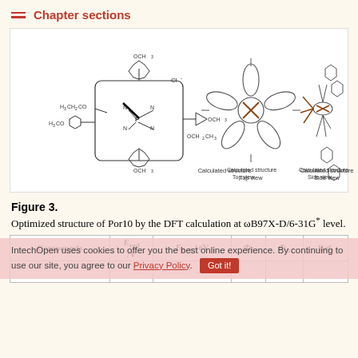Chapter sections
[Figure (illustration): Chemical structure of Por10 (2D structural formula on left showing a porphyrin core with OCH3, H3CO, H3CH2CO, Cl- substituents and phosphorus center), alongside 3D DFT-calculated structure shown from top view (center) and side view (right).]
Figure 3. Optimized structure of Por10 by the DFT calculation at ωB97X-D/6-31G* level.
| Compounds | E_red /V | E_0-0 /eV | Φ_f | Φ_Δ | Ref. |
| --- | --- | --- | --- | --- | --- |